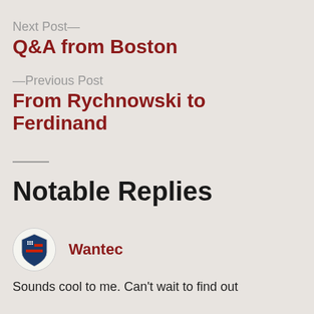Next Post—
Q&A from Boston
—Previous Post
From Rychnowski to Ferdinand
Notable Replies
Wantec
Sounds cool to me. Can't wait to find out